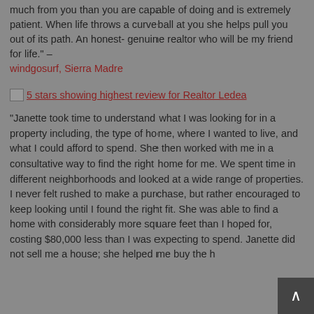much from you than you are capable of doing and is extremely patient. When life throws a curveball at you she helps pull you out of its path. An honest- genuine realtor who will be my friend for life." –
windgosurf, Sierra Madre
[Figure (other): 5 stars image showing highest review for Realtor Ledea with a broken image icon followed by link text]
"Janette took time to understand what I was looking for in a property including, the type of home, where I wanted to live, and what I could afford to spend. She then worked with me in a consultative way to find the right home for me. We spent time in different neighborhoods and looked at a wide range of properties. I never felt rushed to make a purchase, but rather encouraged to keep looking until I found the right fit. She was able to find a home with considerably more square feet than I hoped for, costing $80,000 less than I was expecting to spend. Janette did not sell me a house; she helped me buy the h